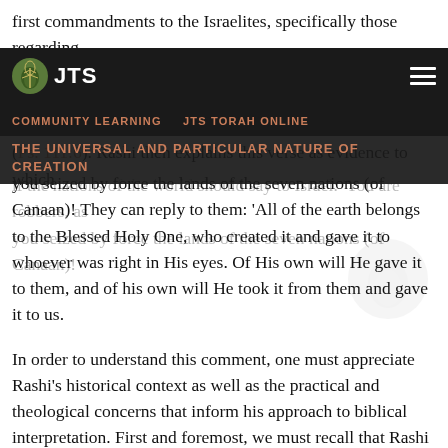first commandments to the Israelites, specifically those regarding the Exodus. This is because God "revealed" His people His powerful works, giving them the heritage of nations (Ps. 111:6). Rashi then explains this verse as evidence to which
JTS
COMMUNITY LEARNING   JTS TORAH ONLINE
THE UNIVERSAL AND PARTICULAR NATURE OF CREATION
if the nations of the world should say to Israel: 'You are robbers, as you seized by force the lands of the seven nations (of Canaan)! They can reply to them: 'All of the earth belongs to the Blessed Holy One, who created it and gave it to whoever was right in His eyes. Of His own will He gave it to them, and of his own will He took it from them and gave it to us.
In order to understand this comment, one must appreciate Rashi's historical context as well as the practical and theological concerns that inform his approach to biblical interpretation. First and foremost, we must recall that Rashi lived in France during the First Crusade, the decades preceding which saw increased persecution of Jews that fomented the Crusader Massacres of